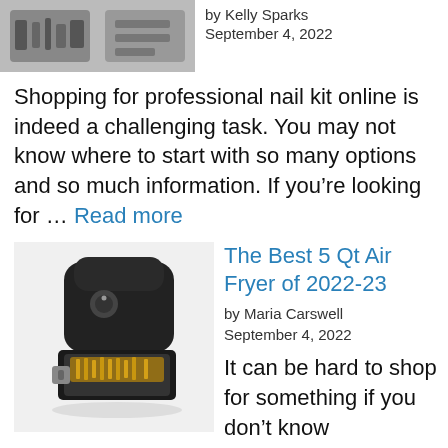[Figure (photo): Image of a professional nail kit with tools laid out in a case]
by Kelly Sparks
September 4, 2022
Shopping for professional nail kit online is indeed a challenging task. You may not know where to start with so many options and so much information. If you’re looking for … Read more
[Figure (photo): Image of a black 5 Qt air fryer with a basket of fries pulled out]
The Best 5 Qt Air Fryer of 2022-23
by Maria Carswell
September 4, 2022
It can be hard to shop for something if you don’t know what to look for. In this article, we’ll talk about the top 10 best 5 qt air fryer … Read more